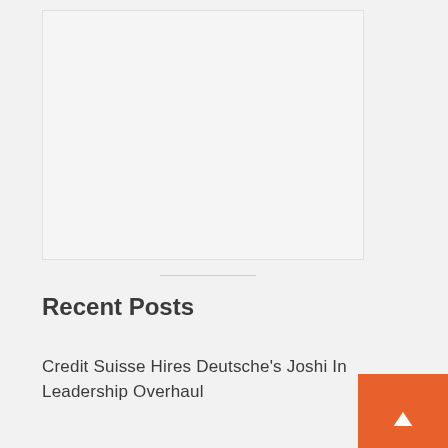[Figure (other): Empty light gray image placeholder box]
Recent Posts
Credit Suisse Hires Deutsche's Joshi In Leadership Overhaul